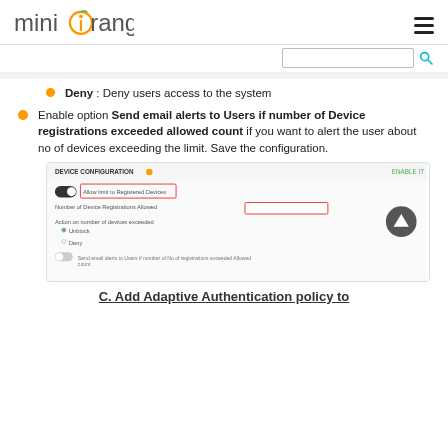miniOrange [logo] [hamburger menu] [search box]
Deny : Deny users access to the system
Enable option Send email alerts to Users if number of Device registrations exceeded allowed count if you want to alert the user about no of devices exceeding the limit. Save the configuration.
[Figure (screenshot): Screenshot of DEVICE CONFIGURATION panel showing toggle for 'Allow limit to Registered Devices', Number of Device Registrations Allowed field highlighted in red, Action on number of devices exceeded options (Unblock/Deny radio buttons), and Send email alerts to Users toggle.]
C. Add Adaptive Authentication policy to